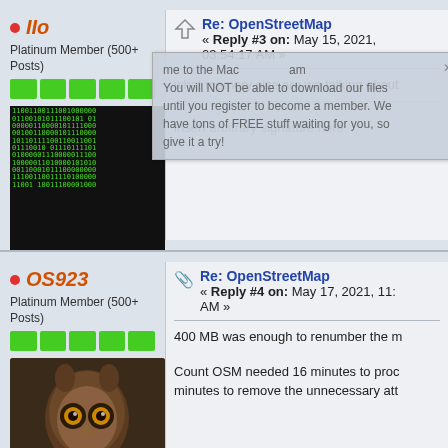IIo
Platinum Member (500+ Posts)
[Figure (illustration): Binary matrix avatar with green text on black background]
Posts: 3809
just a number
Liked:
[Figure (other): Likes progress bar, green filled portion with grey remainder]
Likes Given: 182
Re: OpenStreetMap « Reply #3 on: May 15, 2021, 03:54:17 AM »
what memory size are we talking about
insert arbitrary signature here
OS923
Platinum Member (500+ Posts)
Re: OpenStreetMap « Reply #4 on: May 17, 2021, 11: AM »
400 MB was enough to renumber the m
Count OSM needed 16 minutes to proc minutes to remove the unnecessary att